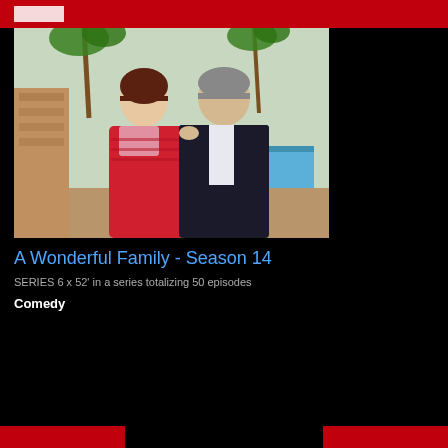[Figure (photo): A couple, a woman in a red patterned top and a man in a dark blazer with white shirt, posing outdoors near a pool with palm trees in a sunny Mediterranean-style setting.]
A Wonderful Family - Season 14
SERIES 6 x 52' in a series totalizing 50 episodes
Comedy